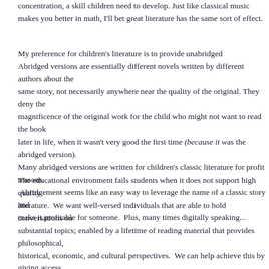concentration, a skill children need to develop.  Just like classical music makes you better in math, I'll bet great literature has the same sort of effect.
My preference for children's literature is to provide unabridged versions. Abridged versions are essentially different novels written by different authors about the same story, not necessarily anywhere near the quality of the original. They deny the magnificence of the original work for the child who might not want to read the book later in life, when it wasn't very good the first time (because it was the abridged version). Many abridged versions are written for children's classic literature for profit reasons. Abridement seems like an easy way to leverage the name of a classic story and make it profitable for someone.  Plus, many times digitally spea...
The educational environment fails students when it does not support high quality literature.  We want well-versed individuals that are able to hold conversations on substantial topics; enabled by a lifetime of reading material that provides philosophical, historical, economic, and cultural perspectives.  We can help achieve this by giving access to high quality literature.